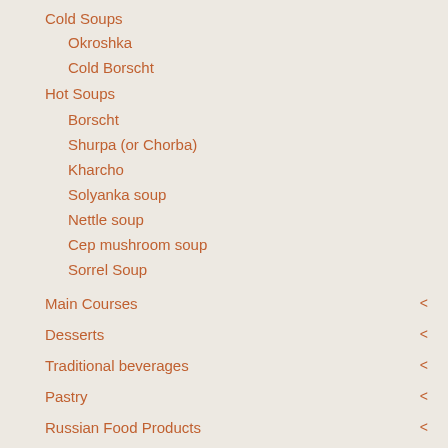Cold Soups
Okroshka
Cold Borscht
Hot Soups
Borscht
Shurpa (or Chorba)
Kharcho
Solyanka soup
Nettle soup
Cep mushroom soup
Sorrel Soup
Main Courses
Desserts
Traditional beverages
Pastry
Russian Food Products
Maslenitsa